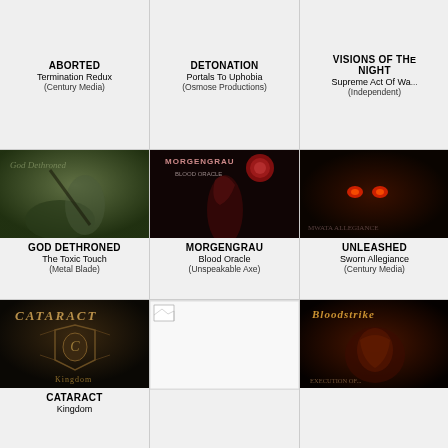ABORTED
Termination Redux
(Century Media)
DETONATION
Portals To Uphobia
(Osmose Productions)
VISIONS OF THE NIGHT
Supreme Act Of Wa...
(Independent)
[Figure (photo): Album art for God Dethroned - The Toxic Touch: dark greenish photo of hands]
GOD DETHRONED
The Toxic Touch
(Metal Blade)
[Figure (photo): Album art for Morgengrau - Blood Oracle: dark fantasy figure with red moon]
MORGENGRAU
Blood Oracle
(Unspeakable Axe)
[Figure (photo): Album art for Unleashed - Sworn Allegiance: dark creature with red eyes]
UNLEASHED
Sworn Allegiance
(Century Media)
[Figure (photo): Album art for Cataract - Kingdom: dark brown heraldic crest design with gold text]
CATARACT
Kingdom
[Figure (photo): Missing/broken image placeholder]
[Figure (photo): Album art for Bloodstrike - Execution Of...: dark orange demon/figure artwork]